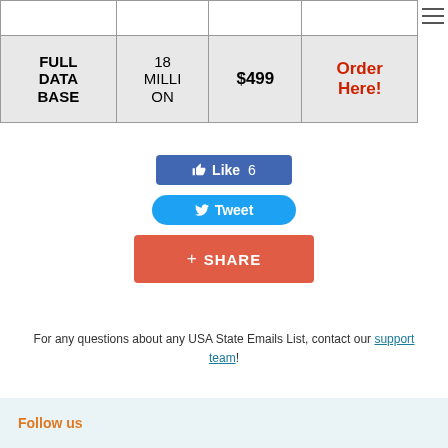|  |  |  |  |
| --- | --- | --- | --- |
|  |  |  |  |
| FULL DATA BASE | 18 MILLION | $499 | Order Here! |
[Figure (other): Facebook Like button showing count of 6]
[Figure (other): Twitter Tweet button]
[Figure (other): Google+ Share button]
For any questions about any USA State Emails List, contact our support team!
Follow us